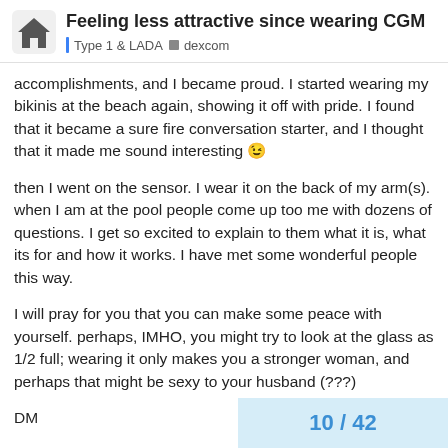Feeling less attractive since wearing CGM | Type 1 & LADA | dexcom
accomplishments, and I became proud. I started wearing my bikinis at the beach again, showing it off with pride. I found that it became a sure fire conversation starter, and I thought that it made me sound interesting 😉
then I went on the sensor. I wear it on the back of my arm(s). when I am at the pool people come up too me with dozens of questions. I get so excited to explain to them what it is, what its for and how it works. I have met some wonderful people this way.
I will pray for you that you can make some peace with yourself. perhaps, IMHO, you might try to look at the glass as 1/2 full; wearing it only makes you a stronger woman, and perhaps that might be sexy to your husband (???)
DM
10 / 42